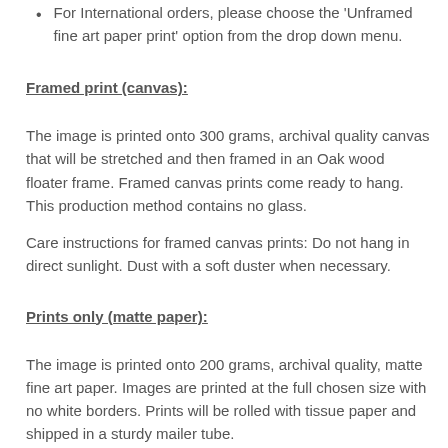For International orders, please choose the 'Unframed fine art paper print' option from the drop down menu.
Framed print (canvas):
The image is printed onto 300 grams, archival quality canvas that will be stretched and then framed in an Oak wood floater frame. Framed canvas prints come ready to hang. This production method contains no glass.
Care instructions for framed canvas prints: Do not hang in direct sunlight. Dust with a soft duster when necessary.
Prints only (matte paper):
The image is printed onto 200 grams, archival quality, matte fine art paper. Images are printed at the full chosen size with no white borders. Prints will be rolled with tissue paper and shipped in a sturdy mailer tube.